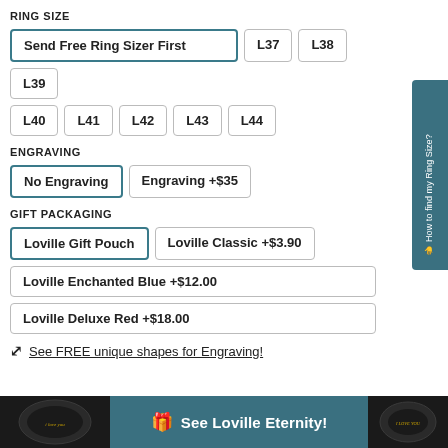RING SIZE
Send Free Ring Sizer First
L37
L38
L39
L40
L41
L42
L43
L44
ENGRAVING
No Engraving
Engraving +$35
GIFT PACKAGING
Loville Gift Pouch
Loville Classic +$3.90
Loville Enchanted Blue +$12.00
Loville Deluxe Red +$18.00
See FREE unique shapes for Engraving!
[Figure (photo): Dark ring with 'i love you' engraving, left side]
See Loville Eternity!
[Figure (photo): Dark ring with 'I LOVE YOU' engraving, right side]